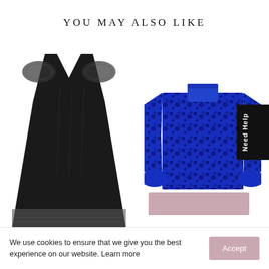YOU MAY ALSO LIKE
[Figure (photo): Black midi dress with lace cap sleeves and lace hem trim, shown on a plain white background.]
[Figure (photo): Blue and black floral jacquard blouse with high neck and wide bell sleeves, shown on a plain white background.]
Need Help
We use cookies to ensure that we give you the best experience on our website. Learn more
Accept